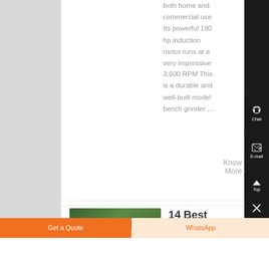both home and commercial use Its powerful 190 hp induction motor runs at a very impressive 3,600 RPM This is a durable and well-built model bench grinder ,...
Know More
[Figure (photo): Partial image of what appears to be a green outdoor scene, bottom of a product listing card]
14 Best
[Figure (screenshot): Right sidebar with dark background showing Chat icon (headset), E-mail icon (document), Top button (arrow up), and Close button (X)]
Get a Quote
WhatsApp